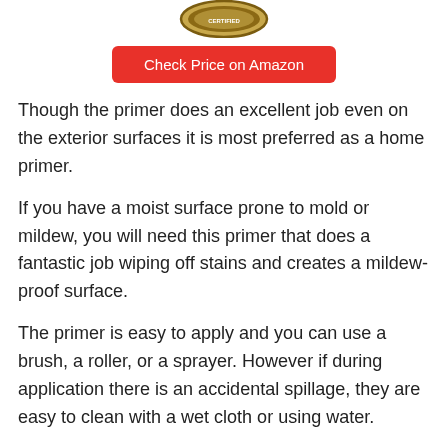[Figure (logo): Circular badge/seal image at top center]
Check Price on Amazon
Though the primer does an excellent job even on the exterior surfaces it is most preferred as a home primer.
If you have a moist surface prone to mold or mildew, you will need this primer that does a fantastic job wiping off stains and creates a mildew-proof surface.
The primer is easy to apply and you can use a brush, a roller, or a sprayer. However if during application there is an accidental spillage, they are easy to clean with a wet cloth or using water.